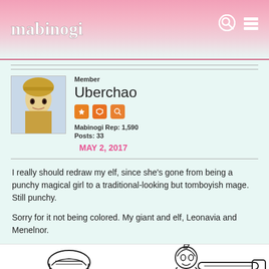mabinogi
Member
Uberchao
Mabinogi Rep: 1,590
Posts: 33
MAY 2, 2017
I really should redraw my elf, since she's gone from being a punchy magical girl to a traditional-looking but tomboyish mage. Still punchy.
Sorry for it not being colored. My giant and elf, Leonavia and Menelnor.
[Figure (illustration): Line art drawing of two characters - a giant character on the left and an elf character on the right holding what appears to be a large weapon or staff]